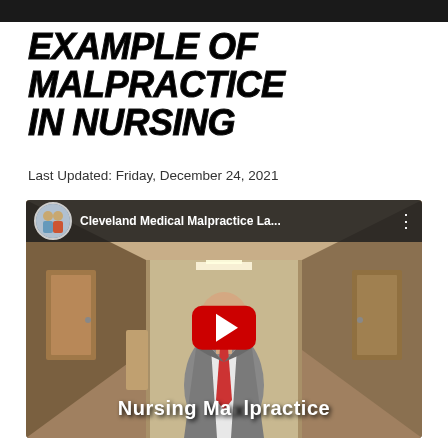EXAMPLE OF MALPRACTICE IN NURSING
Last Updated: Friday, December 24, 2021
[Figure (screenshot): YouTube video thumbnail showing a bald man in a grey suit and red tie standing in a hospital hallway. The video is titled 'Cleveland Medical Malpractice La...' with a YouTube play button overlay. Text at the bottom reads 'Nursing Malpractice'.]